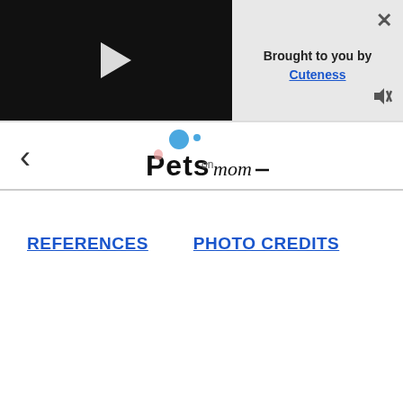[Figure (screenshot): Video player with black background and white play button triangle]
Brought to you by Cuteness
[Figure (logo): Pets on Mom logo with blue circle and stylized text]
REFERENCES
PHOTO CREDITS